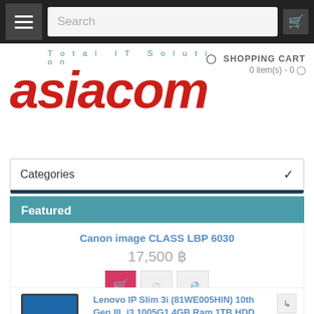Navigation bar with menu, search, and cart icon
[Figure (logo): Asiacom Total IT Solution logo — red bold italic 'asiacom' text with green 'Total IT Solution' tagline above]
SHOPPING CART
0 item(s) - 0
Categories
Featured
Canon image CLASS LBP 6030
17,500 ฿
Lenovo IP Slim 3i (81WE005HIN) 10th Gen IIL i3 1005G1 4GB Ram 1TB HDD Laptop